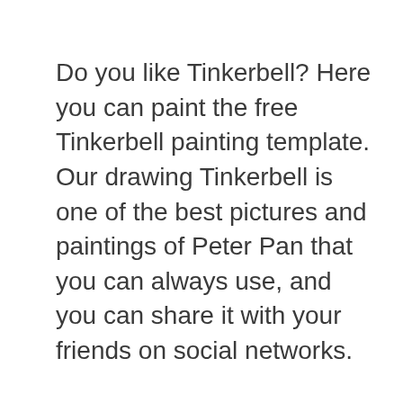Do you like Tinkerbell? Here you can paint the free Tinkerbell painting template. Our drawing Tinkerbell is one of the best pictures and paintings of Peter Pan that you can always use, and you can share it with your friends on social networks.